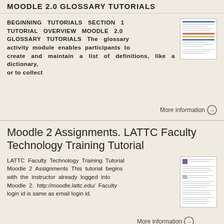MOODLE 2.0 GLOSSARY TUTORIALS
BEGINNING TUTORIALS SECTION 1 TUTORIAL OVERVIEW MOODLE 2.0 GLOSSARY TUTORIALS The glossary activity module enables participants to create and maintain a list of definitions, like a dictionary, or to collect
More information →
Moodle 2 Assignments. LATTC Faculty Technology Training Tutorial
LATTC Faculty Technology Training Tutorial Moodle 2 Assignments This tutorial begins with the instructor already logged into Moodle 2. http://moodle.lattc.edu/ Faculty login id is same as email login id.
More information →